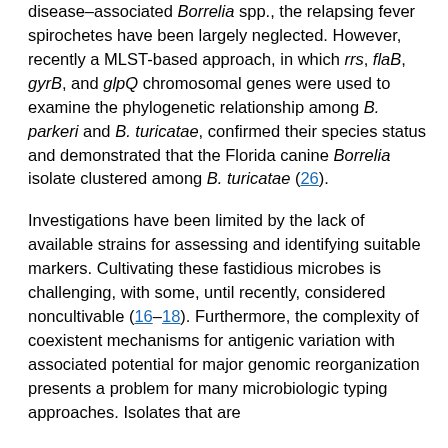disease-associated Borrelia spp., the relapsing fever spirochetes have been largely neglected. However, recently a MLST-based approach, in which rrs, flaB, gyrB, and glpQ chromosomal genes were used to examine the phylogenetic relationship among B. parkeri and B. turicatae, confirmed their species status and demonstrated that the Florida canine Borrelia isolate clustered among B. turicatae (26).
Investigations have been limited by the lack of available strains for assessing and identifying suitable markers. Cultivating these fastidious microbes is challenging, with some, until recently, considered noncultivable (16–18). Furthermore, the complexity of coexistent mechanisms for antigenic variation with associated potential for major genomic reorganization presents a problem for many microbiologic typing approaches. Isolates that are